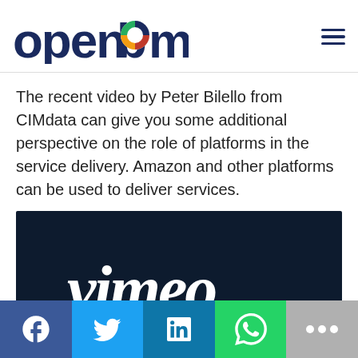[Figure (logo): OpenBOM logo with colorful circle icon and dark navy wordmark text, and hamburger menu icon on the right]
The recent video by Peter Bilello from CIMdata can give you some additional perspective on the role of platforms in the service delivery. Amazon and other platforms can be used to deliver services.
[Figure (screenshot): Vimeo video embed placeholder showing dark navy background with white Vimeo logo in italic script]
[Figure (infographic): Social sharing bar with Facebook (blue), Twitter (light blue), LinkedIn (dark blue), WhatsApp (green), and more options (gray) buttons]